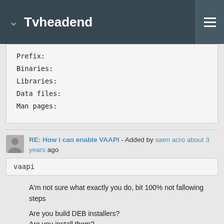Tvheadend
Prefix:
Binaries:
Libraries:
Data files:
Man pages:
RE: How i can enable VAAPI - Added by saen acro about 3 years ago
vaapi
A'm not sure what exactly you do, bit 100% not fallowing steps
Are you build DEB installers?
Are you install them?
RE: How i can enable VAAPI - Added by hacksat hacksat about 3 years ago